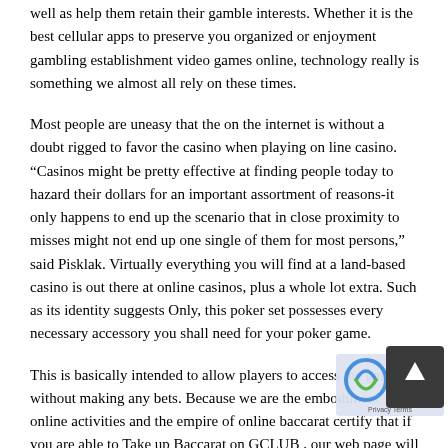well as help them retain their gamble interests. Whether it is the best cellular apps to preserve you organized or enjoyment gambling establishment video games online, technology really is something we almost all rely on these times.
Most people are uneasy that the on the internet is without a doubt rigged to favor the casino when playing on line casino. “Casinos might be pretty effective at finding people today to hazard their dollars for an important assortment of reasons-it only happens to end up the scenario that in close proximity to misses might not end up one single of them for most persons,” said Pisklak. Virtually everything you will find at a land-based casino is out there at online casinos, plus a whole lot extra. Such as its identity suggests Only, this poker set possesses every necessary accessory you shall need for your poker game.
This is basically intended to allow players to access the games without making any bets. Because we are the embodiment online activities and the empire of online baccarat certify that if you are able to Take up Baccarat on GCLUB , our web page will definitely again occur spine and take up. Portable casinos give no more put in bonus offer features to new members on a fabulous common base, getting new associates a fabulous probability to carry out gambling house game titles that are generally completely threat 100 % free. The site is updated with fresh